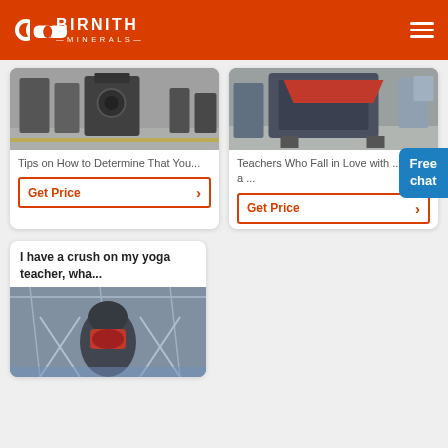BIRNITH MINERALS
[Figure (photo): Industrial grinding/crushing machine in a factory setting]
Tips on How to Determine That You...
Get Price
[Figure (photo): Industrial jaw crusher machine in factory]
Teachers Who Fall in Love with ... I am a ...
Get Price
Free chat
I have a crush on my yoga teacher, wha...
[Figure (photo): Large industrial mill machine in factory]